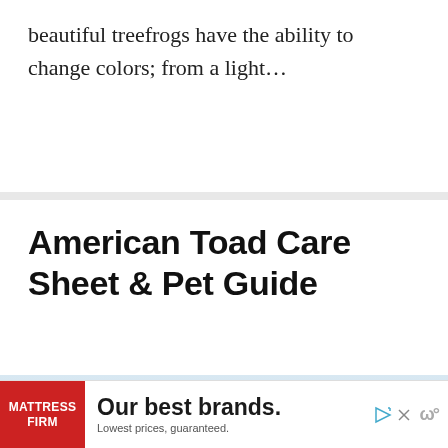beautiful treefrogs have the ability to change colors; from a light…
American Toad Care Sheet & Pet Guide
[Figure (photo): Close-up photograph of an American toad with bumpy brown skin against a light blue-white background]
[Figure (other): Mattress Firm advertisement banner: 'Our best brands. Lowest prices, guaranteed.']